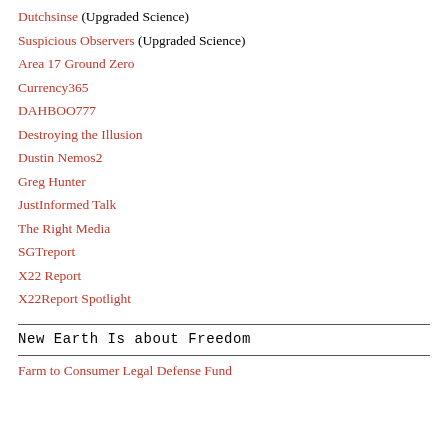Dutchsinse (Upgraded Science)
Suspicious Observers (Upgraded Science)
Area 17 Ground Zero
Currency365
DAHBOO777
Destroying the Illusion
Dustin Nemos2
Greg Hunter
JustInformed Talk
The Right Media
SGTreport
X22 Report
X22Report Spotlight
New Earth Is about Freedom
Farm to Consumer Legal Defense Fund